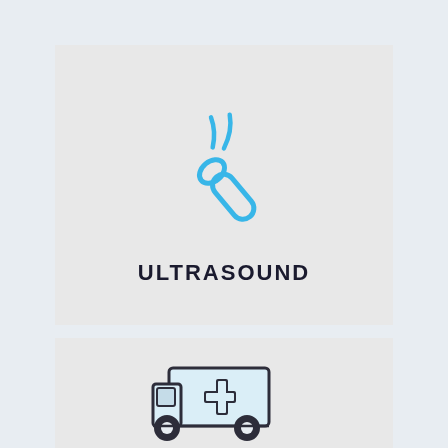[Figure (illustration): Ultrasound probe icon in blue with sound waves, above the label ULTRASOUND]
ULTRASOUND
[Figure (illustration): Ambulance/medical vehicle icon in dark outline with light blue body and cross symbol]